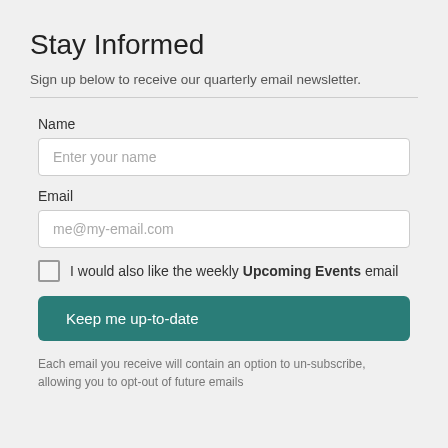Stay Informed
Sign up below to receive our quarterly email newsletter.
Name
Enter your name
Email
me@my-email.com
I would also like the weekly Upcoming Events email
Keep me up-to-date
Each email you receive will contain an option to un-subscribe, allowing you to opt-out of future emails